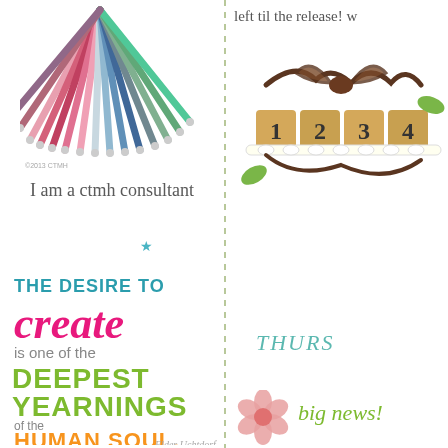[Figure (illustration): Colorful fan of zippers in various colors arranged in a circle shape on white background]
I am a ctmh consultant
★
[Figure (illustration): Inspirational quote graphic: THE DESIRE TO create is one of the DEEPEST YEARNINGS of the HUMAN SOUL. — Elder Uchtdorf, in colorful bold typography]
left til the release! w
[Figure (illustration): Decorative countdown calendar blocks with wooden number tiles, lace trim, leather cord bow, and green leaves]
THURS
[Figure (illustration): Pink flower embellishment]
big news!